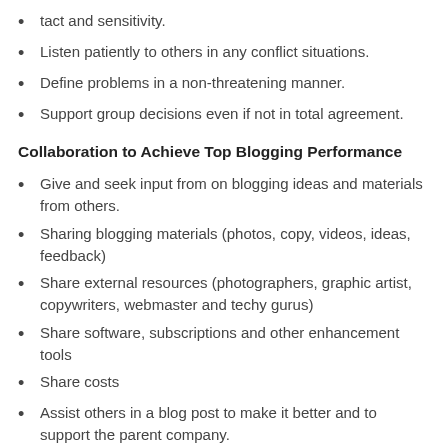tact and sensitivity.
Listen patiently to others in any conflict situations.
Define problems in a non-threatening manner.
Support group decisions even if not in total agreement.
Collaboration to Achieve Top Blogging Performance
Give and seek input from on blogging ideas and materials from others.
Sharing blogging materials (photos, copy, videos, ideas, feedback)
Share external resources (photographers, graphic artist, copywriters, webmaster and techy gurus)
Share software, subscriptions and other enhancement tools
Share costs
Assist others in a blog post to make it better and to support the parent company.
Ask for help in identifying and achieving blogging goals and solving blogging problems.
Check for agreement, and gain commitment to shared blogging goals.